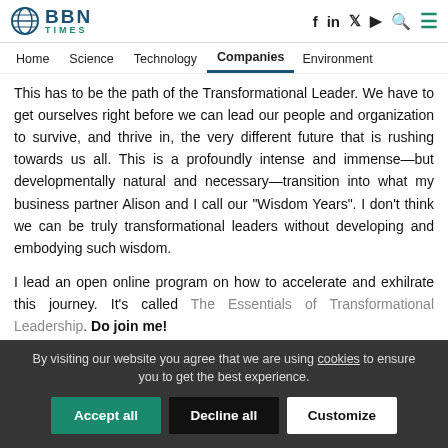BBN TIMES — Home | Science | Technology | Companies | Environment
This has to be the path of the Transformational Leader. We have to get ourselves right before we can lead our people and organization to survive, and thrive in, the very different future that is rushing towards us all. This is a profoundly intense and immense—but developmentally natural and necessary—transition into what my business partner Alison and I call our "Wisdom Years". I don't think we can be truly transformational leaders without developing and embodying such wisdom.
I lead an open online program on how to accelerate and exhilrate this journey. It's called The Essentials of Transformational Leadership. Do join me!
By visiting our website you agree that we are using cookies to ensure you to get the best experience.